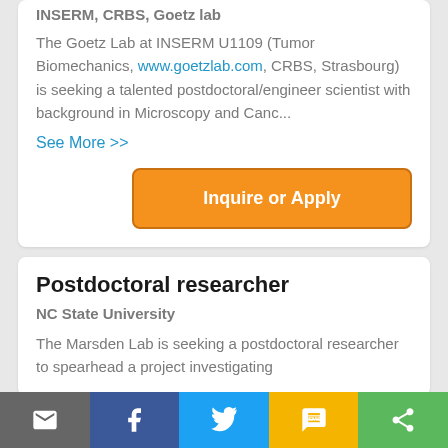INSERM, CRBS, Goetz lab
The Goetz Lab at INSERM U1109 (Tumor Biomechanics, www.goetzlab.com, CRBS, Strasbourg) is seeking a talented postdoctoral/engineer scientist with background in Microscopy and Canc...
See More >>
[Figure (other): Orange 'Inquire or Apply' button]
Postdoctoral researcher
NC State University
The Marsden Lab is seeking a postdoctoral researcher to spearhead a project investigating
[Figure (infographic): Social sharing bar with email, Facebook, Twitter, SMS, and share icons]